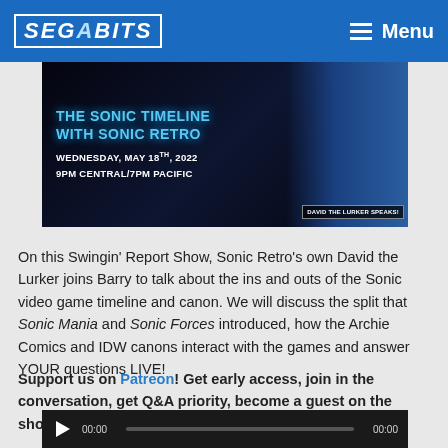SEGABITS — Menu
[Figure (screenshot): Banner image for 'The Sonic Timeline With Sonic Retro' event. Dark starfield background with blue glowing text. Text reads: THE SONIC TIMELINE WITH SONIC RETRO / WEDNESDAY, MAY 18TH, 2022 / 9PM CENTRAL/7PM PACIFIC. Right side shows game screenshot with label 'DAVID THE LURKER SPEAKS!']
On this Swingin’ Report Show, Sonic Retro’s own David the Lurker joins Barry to talk about the ins and outs of the Sonic video game timeline and canon. We will discuss the split that Sonic Mania and Sonic Forces introduced, how the Archie Comics and IDW canons interact with the games and answer YOUR questions LIVE!
Support us on Patreon! Get early access, join in the conversation, get Q&A priority, become a guest on the show and more!
[Figure (screenshot): Audio player bar with play button, time stamp 00:00, progress bar, and end time 00:00]